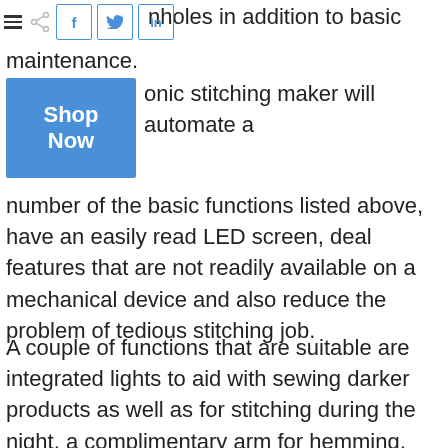nholes in addition to basic maintenance.
[Figure (other): Social share buttons: hamburger menu icon, share icon, Facebook (f), Twitter (bird), LinkedIn (in) buttons]
[Figure (other): Blue 'Shop Now' button]
onic stitching maker will automate a number of the basic functions listed above, have an easily read LED screen, deal features that are not readily available on a mechanical device and also reduce the problem of tedious stitching job.
A couple of functions that are suitable are integrated lights to aid with sewing darker products as well as for stitching during the night, a complimentary arm for hemming, cuff sewing and sleeves, blind stitching, buttonhole ability, a